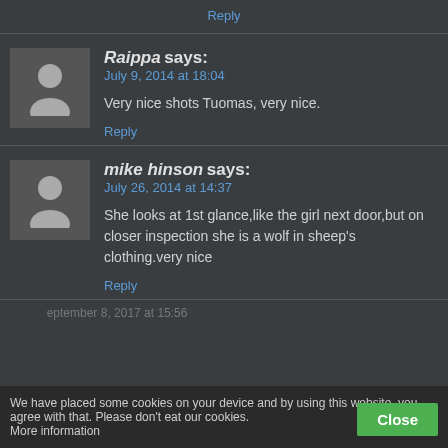Reply
Raippa says:
July 9, 2014 at 18:04
Very nice shots Tuomas, very nice.
Reply
mike hinson says:
July 26, 2014 at 14:37
She looks at 1st glance,like the girl next door,but on closer inspection she is a wolf in sheep's clothing.very nice
Reply
We have placed some cookies on your device and by using this website, you agree with that. Please don't eat our cookies.
More information
Close